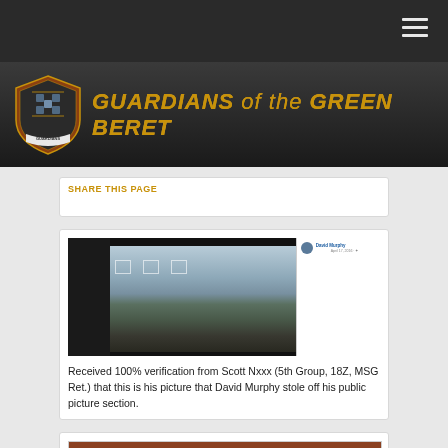GUARDIANS of the GREEN BERET
[Figure (screenshot): Facebook post screenshot by David Murphy showing a photo of a person at an outdoor location with desert landscape, with sidebar showing profile name and date]
Received 100% verification from Scott Nxxx (5th Group, 18Z, MSG Ret.) that this is his picture that David Murphy stole off his public picture section.
[Figure (photo): Photo of people in military/ceremonial attire, partially visible, with wooden frame elements]